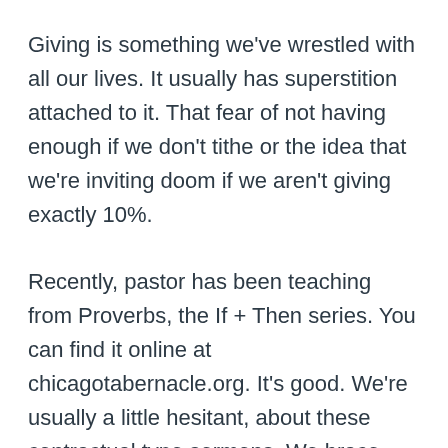Giving is something we've wrestled with all our lives. It usually has superstition attached to it. That fear of not having enough if we don't tithe or the idea that we're inviting doom if we aren't giving exactly 10%.
Recently, pastor has been teaching from Proverbs, the If + Then series. You can find it online at chicagotabernacle.org. It's good. We're usually a little hesitant, about these contractual type sermons. We brace ourselves, waiting to hear what we're not doing to gain whatever promise is at the end of the contract. Proverbs is one of those